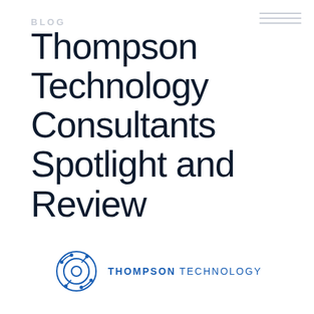BLOG
Thompson Technology Consultants Spotlight and Review
[Figure (logo): Thompson Technology logo: stylized circular gear/target icon with circuit nodes and lines in blue, followed by THOMPSON TECHNOLOGY wordmark in blue uppercase letters]